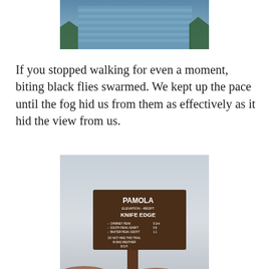[Figure (photo): Partial photo of a person in a blue striped shirt, cropped at top of page, with trees visible in background]
If you stopped walking for even a moment, biting black flies swarmed. We kept up the pace until the fog hid us from them as effectively as it hid the view from us.
[Figure (photo): Trail sign on wooden post reading PAMOLA ELEVATION 4902FT, KNIFE EDGE, with distances to Chimney Peak 0.1mi, South Peak 5240ft 0.8, Baxter Peak 5267ft 1.1, and warning DO NOT HIKE THIS TRAIL IN BAD WEATHER B.S.P. Rocky terrain visible in foggy background.]
At Pamola we reached a junction with the Knife Edge. At times this trail is 3ft wide with a thousand foot drop on each side. We may have been better off without being able to see